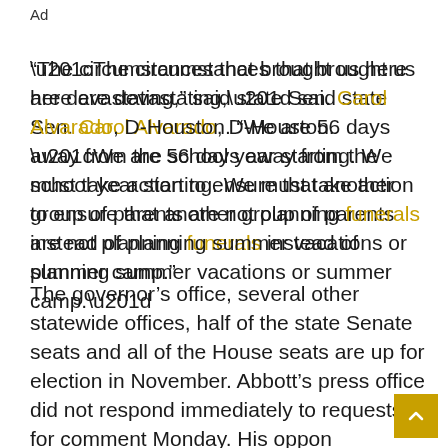Ad
“The circumstances that brought us here are devastating,” said state Sen. Carol Alvarado, D-Houston. “We are 56 days away from the school year starting. We must take action to ensure that another group of parents are not planning funerals instead of planning summer vacations or summer camp.”
The governor’s office, several other statewide offices, half of the state Senate seats and all of the House seats are up for election in November. Abbott’s press office did not respond immediately to requests for comment Monday. His oppon...